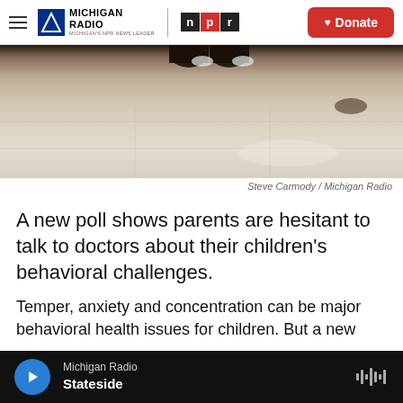Michigan Radio | NPR | Donate
[Figure (photo): Photo of a child lying on a light-colored tile floor, shot from above, showing legs and partial torso.]
Steve Carmody / Michigan Radio
A new poll shows parents are hesitant to talk to doctors about their children’s behavioral challenges.
Temper, anxiety and concentration can be major behavioral health issues for children. But a new
Michigan Radio Stateside